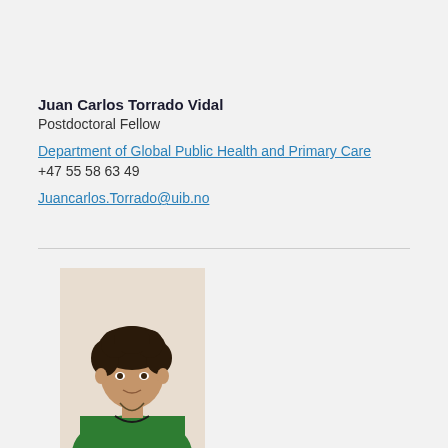Juan Carlos Torrado Vidal
Postdoctoral Fellow
Department of Global Public Health and Primary Care
+47 55 58 63 49
Juancarlos.Torrado@uib.no
[Figure (photo): Portrait photo of a person with short curly dark hair, wearing a green top and a long necklace, against a light background.]